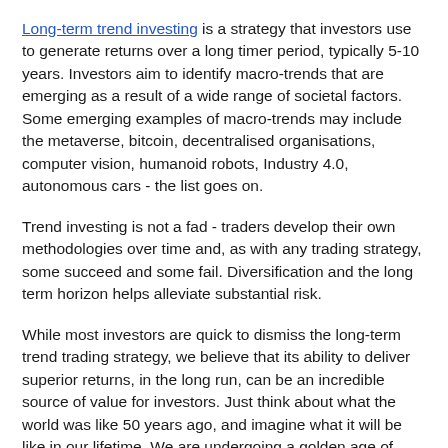Long-term trend investing is a strategy that investors use to generate returns over a long timer period, typically 5-10 years. Investors aim to identify macro-trends that are emerging as a result of a wide range of societal factors. Some emerging examples of macro-trends may include the metaverse, bitcoin, decentralised organisations, computer vision, humanoid robots, Industry 4.0, autonomous cars - the list goes on.
Trend investing is not a fad - traders develop their own methodologies over time and, as with any trading strategy, some succeed and some fail. Diversification and the long term horizon helps alleviate substantial risk.
While most investors are quick to dismiss the long-term trend trading strategy, we believe that its ability to deliver superior returns, in the long run, can be an incredible source of value for investors. Just think about what the world was like 50 years ago, and imagine what it will be like in our lifetime. We are undergoing a golden age of technological progress.